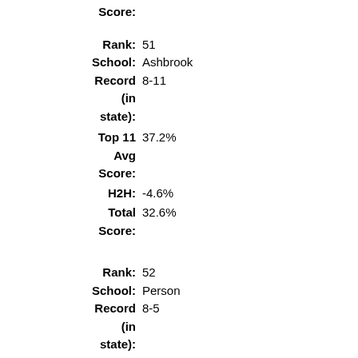Score:
Rank: 51
School: Ashbrook
Record (in state): 8-11
Top 11 Avg Score: 37.2%
H2H: -4.6%
Total Score: 32.6%
Rank: 52
School: Person
Record (in state): 8-5